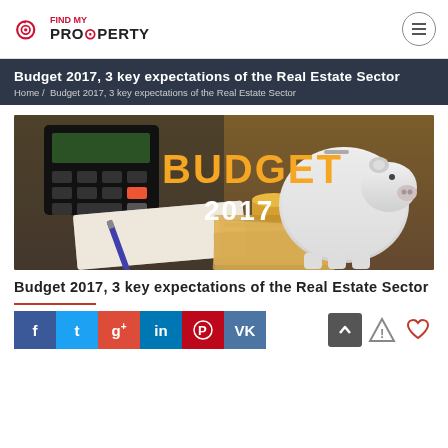FIND MY PROPERTY
Budget 2017, 3 key expectations of the Real Estate Sector
Home / Budget 2017, 3 key expectations of the Real Estate Sector
[Figure (photo): Budget 2017 banner image with a piggy bank, calculator, pen, notebook, Indian currency notes and coins on a wooden table with text BUDGET 2017]
Budget 2017, 3 key expectations of the Real Estate Sector